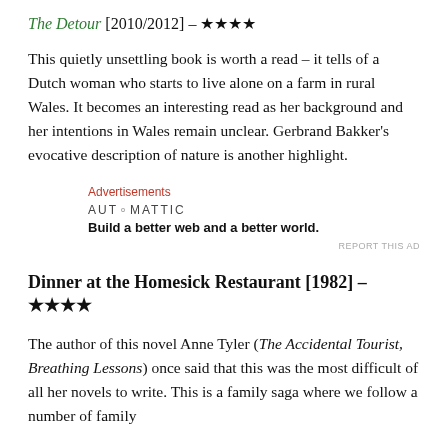The Detour [2010/2012] – ★★★★
This quietly unsettling book is worth a read – it tells of a Dutch woman who starts to live alone on a farm in rural Wales. It becomes an interesting read as her background and her intentions in Wales remain unclear. Gerbrand Bakker's evocative description of nature is another highlight.
Advertisements
AUTOMATTIC
Build a better web and a better world.
REPORT THIS AD
Dinner at the Homesick Restaurant [1982] – ★★★★
The author of this novel Anne Tyler (The Accidental Tourist, Breathing Lessons) once said that this was the most difficult of all her novels to write. This is a family saga where we follow a number of family